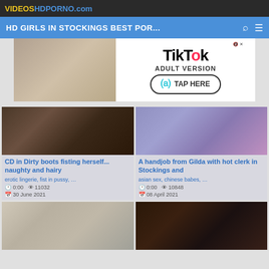VIDEOSHDPORNO.com
HD GIRLS IN STOCKINGS BEST POR...
[Figure (screenshot): TikTok Adult Version advertisement banner with blonde hair image on left and TikTok logo with TAP HERE button on right]
[Figure (photo): Video thumbnail - CD in Dirty boots fisting herself... naughty and hairy]
CD in Dirty boots fisting herself... naughty and hairy
erotic lingerie, fist in pussy, ...
0:00  11032
30 June 2021
[Figure (photo): Video thumbnail - A handjob from Gilda with hot clerk in Stockings and]
A handjob from Gilda with hot clerk in Stockings and
asian sex, chinese babes, ...
0:00  10848
08 April 2021